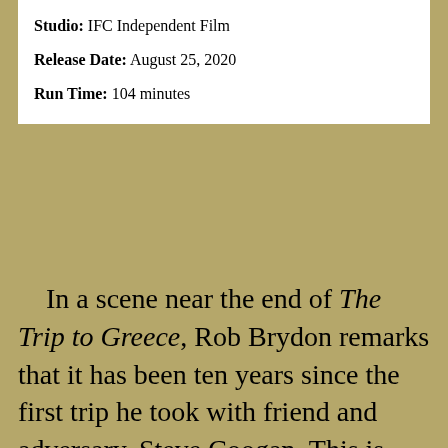Studio: IFC Independent Film
Release Date: August 25, 2020
Run Time: 104 minutes
In a scene near the end of The Trip to Greece, Rob Brydon remarks that it has been ten years since the first trip he took with friend and adversary, Steve Coogan. This is surprising to